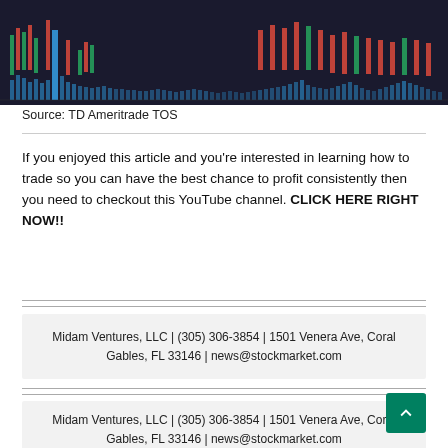[Figure (screenshot): Screenshot of a stock candlestick chart with volume bars from TD Ameritrade TOS platform, dark background with red and green candles and blue volume bars.]
Source: TD Ameritrade TOS
If you enjoyed this article and you’re interested in learning how to trade so you can have the best chance to profit consistently then you need to checkout this YouTube channel. CLICK HERE RIGHT NOW!!
Midam Ventures, LLC | (305) 306-3854 | 1501 Venera Ave, Coral Gables, FL 33146 | news@stockmarket.com
Midam Ventures, LLC | (305) 306-3854 | 1501 Venera Ave, Coral Gables, FL 33146 | news@stockmarket.com